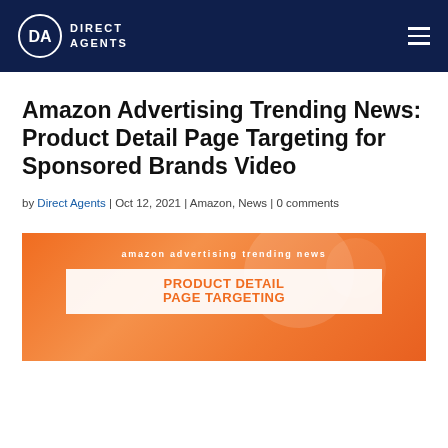Direct Agents
Amazon Advertising Trending News: Product Detail Page Targeting for Sponsored Brands Video
by Direct Agents | Oct 12, 2021 | Amazon, News | 0 comments
[Figure (illustration): Orange gradient promotional banner image with text 'amazon advertising trending news' and 'PRODUCT DETAIL PAGE TARGETING' for Direct Agents article]